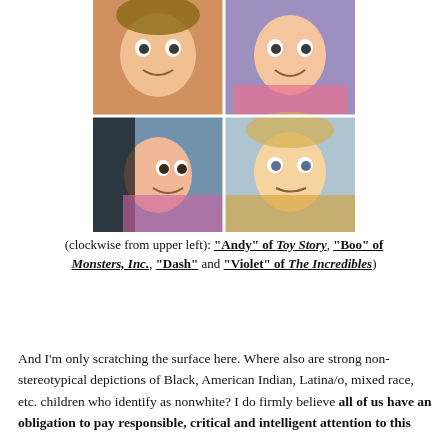[Figure (photo): A 2x2 grid of animated character faces from Pixar films: upper left is Andy from Toy Story, upper right is Boo from Monsters Inc., lower left is Violet from The Incredibles, lower right is Dash from The Incredibles.]
(clockwise from upper left): "Andy" of Toy Story, "Boo" of Monsters, Inc., "Dash" and "Violet" of The Incredibles)
And I'm only scratching the surface here. Where also are strong non-stereotypical depictions of Black, American Indian, Latina/o, mixed race, etc. children who identify as nonwhite? I do firmly believe all of us have an obligation to pay responsible, critical and intelligent attention to this